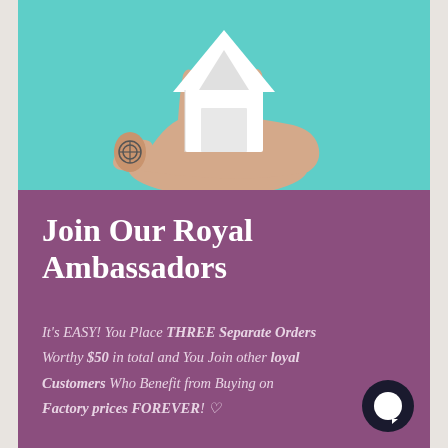[Figure (photo): A hand with a tattoo on the wrist holding a small white model house against a teal/turquoise background]
Join Our Royal Ambassadors
It's EASY! You Place THREE Separate Orders Worthy $50 in total and You Join other loyal Customers Who Benefit from Buying on Factory prices FOREVER! ♡